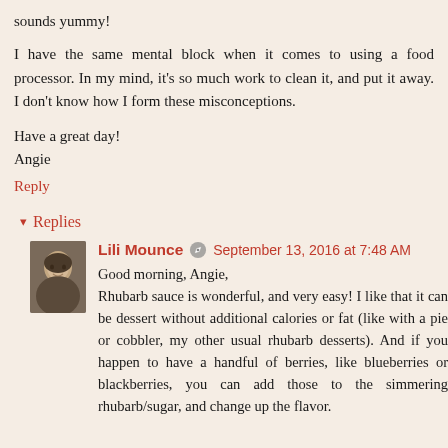sounds yummy!
I have the same mental block when it comes to using a food processor. In my mind, it's so much work to clean it, and put it away. I don't know how I form these misconceptions.
Have a great day!
Angie
Reply
▾ Replies
Lili Mounce  September 13, 2016 at 7:48 AM
Good morning, Angie,
Rhubarb sauce is wonderful, and very easy! I like that it can be dessert without additional calories or fat (like with a pie or cobbler, my other usual rhubarb desserts). And if you happen to have a handful of berries, like blueberries or blackberries, you can add those to the simmering rhubarb/sugar, and change up the flavor.